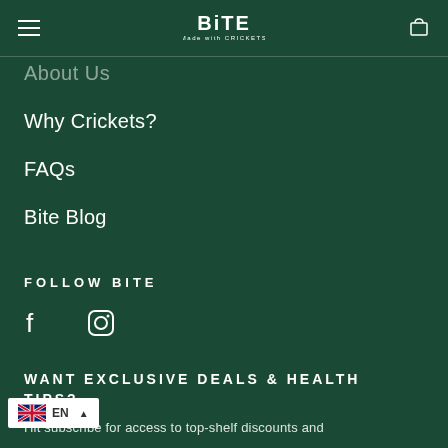BITE Made with CRICKETS
About Us
Why Crickets?
FAQs
Bite Blog
FOLLOW BITE
[Figure (illustration): Facebook and Instagram social media icons in white]
WANT EXCLUSIVE DEALS & HEALTH TIPS?
Hit subscribe for access to top-shelf discounts and
EN language switcher with UK flag